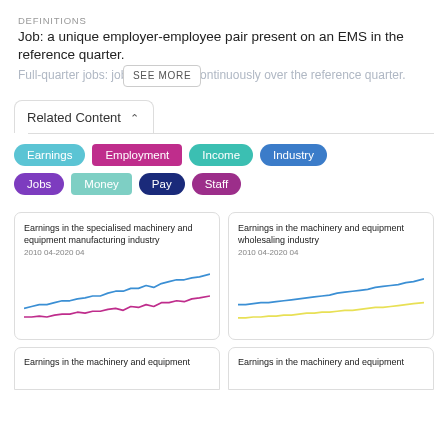DEFINITIONS
Job: a unique employer-employee pair present on an EMS in the reference quarter.
Full-quarter jobs: jobs that [SEE MORE] continuously over the reference quarter.
Related Content
Earnings
Employment
Income
Industry
Jobs
Money
Pay
Staff
Earnings in the specialised machinery and equipment manufacturing industry
2010 04-2020 04
[Figure (line-chart): Two line chart showing earnings trends for specialised machinery and equipment manufacturing industry 2010-2020, blue and pink lines trending upward]
Earnings in the machinery and equipment wholesaling industry
2010 04-2020 04
[Figure (line-chart): Two line chart showing earnings trends for machinery and equipment wholesaling industry 2010-2020, blue and yellow lines trending upward]
Earnings in the machinery and equipment
Earnings in the machinery and equipment